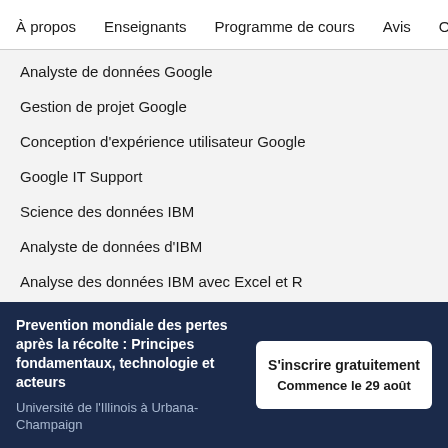À propos    Enseignants    Programme de cours    Avis    Op
Analyste de données Google
Gestion de projet Google
Conception d'expérience utilisateur Google
Google IT Support
Science des données IBM
Analyste de données d'IBM
Analyse des données IBM avec Excel et R
Analyste de cybersécurité d'IBM
Ingénierie des données IBM
Prevention mondiale des pertes après la récolte : Principes fondamentaux, technologie et acteurs
Université de l'Illinois à Urbana-Champaign
S'inscrire gratuitement
Commence le 29 août